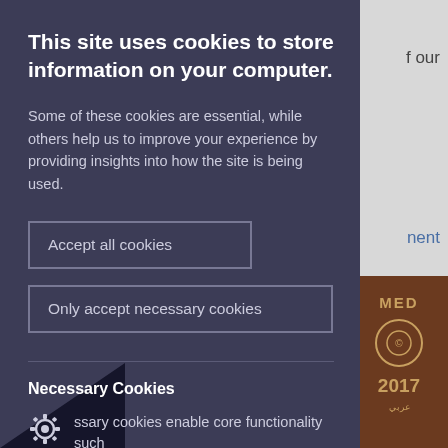[Figure (screenshot): Cookie consent modal overlay on a website. Dark navy/indigo panel on the left covers most of the viewport. Behind it on the right, partial text of the underlying page is visible including 'f our', 'nent', 'to', and a brown book/publication image with 'MED', '2017', and Arabic text. The modal contains a title, body text, two buttons, a divider, a Necessary Cookies heading, and a cogwheel icon with partial text.]